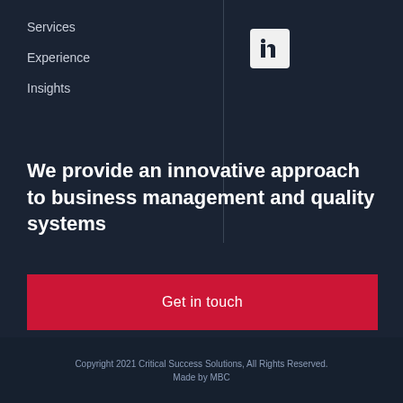Services
Experience
Insights
[Figure (logo): LinkedIn icon: white 'in' text on light grey/white square background]
We provide an innovative approach to business management and quality systems
Get in touch
Copyright 2021 Critical Success Solutions, All Rights Reserved.
Made by MBC